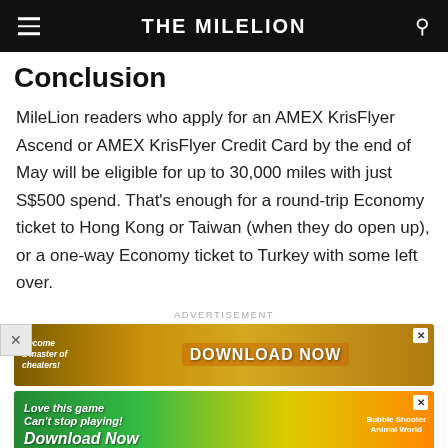THE MILELION
Conclusion
MileLion readers who apply for an AMEX KrisFlyer Ascend or AMEX KrisFlyer Credit Card by the end of May will be eligible for up to 30,000 miles with just S$500 spend. That's enough for a round-trip Economy ticket to Hong Kong or Taiwan (when they do open up), or a one-way Economy ticket to Turkey with some left over.
ADVERTISEMENT
[Figure (screenshot): Advertisement banner: golden/brown background with text 'Become a master of cheaters' on left and 'DOWNLOAD NOW' button in center, with close X button.]
[Figure (screenshot): Advertisement banner: green/orange gradient background with 'Love this game Can't stop playing! Download Now' text and 'Bubble Shooter Animal World' game imagery on right, with close X button.]